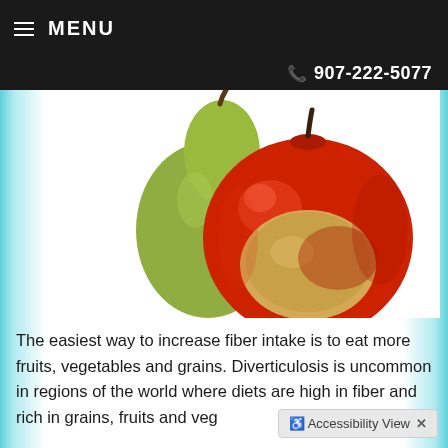≡ MENU   ☎ 907-222-5077
[Figure (photo): A red apple with a bite taken out of it, placed in front of a green pear, on a white background with teal/blue decorative borders on the sides.]
The easiest way to increase fiber intake is to eat more fruits, vegetables and grains. Diverticulosis is uncommon in regions of the world where diets are high in fiber and rich in grains, fruits and veg...
Accessibility View  ×